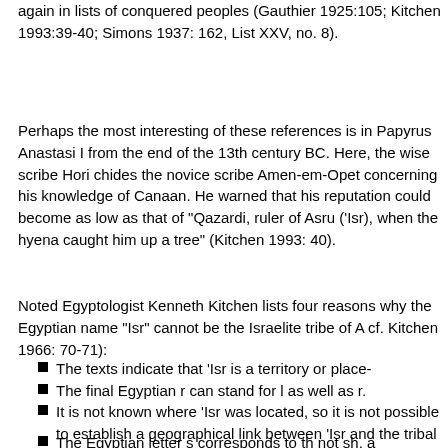again in lists of conquered peoples (Gauthier 1925:105; Kitchen 1993:39-40; Simons 1937: 162, List XXV, no. 8).
Perhaps the most interesting of these references is in Papyrus Anastasi I from the end of the 13th century BC. Here, the wise scribe Hori chides the novice scribe Amenem-Opet concerning his knowledge of Canaan. He warned that his reputation could become as low as that of "Qazardi, ruler of Asru ('Isr), when the hyena caught him up a tree" (Kitchen 1993: 40).
Noted Egyptologist Kenneth Kitchen lists four reasons why the Egyptian name "Isr" cannot be the Israelite tribe of Asher (see also cf. Kitchen 1966: 70-71):
The texts indicate that 'Isr is a territory or place-
The final Egyptian r can stand for l as well as r.
It is not known where 'Isr was located, so it is not possible to establish a geographical link between 'Isr and the tribal ar
The Egyptian letter s corresponds to th not sh, a